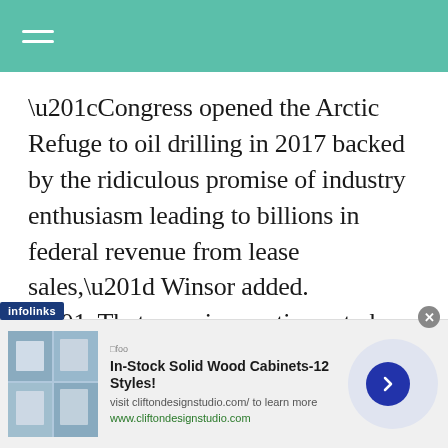“Congress opened the Arctic Refuge to oil drilling in 2017 backed by the ridiculous promise of industry enthusiasm leading to billions in federal revenue from lease sales,” Winsor added. “That promise continues to be exposed for the lie that was and we support Congress and the Biden administration taking long-overdue action to restore fiscal common sense and reestablish protections
[Figure (screenshot): Infolinks advertisement banner: In-Stock Solid Wood Cabinets-12 Styles! visit cliftondesignstudio.com/ to learn more. www.cliftondesignstudio.com]